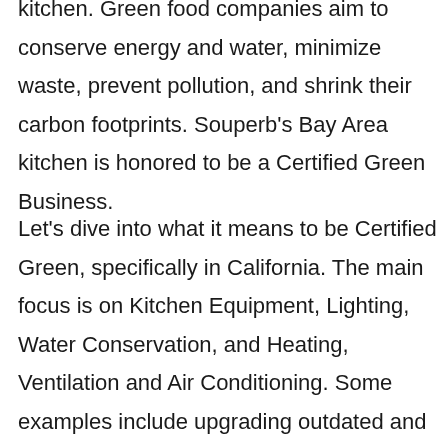kitchen. Green food companies aim to conserve energy and water, minimize waste, prevent pollution, and shrink their carbon footprints. Souperb's Bay Area kitchen is honored to be a Certified Green Business.
Let's dive into what it means to be Certified Green, specifically in California. The main focus is on Kitchen Equipment, Lighting, Water Conservation, and Heating, Ventilation and Air Conditioning. Some examples include upgrading outdated and inefficient electrical/refrigeration equipment, replacing old water-consuming products and aerators with low-flow options, updating HVAC systems, utilizing compost